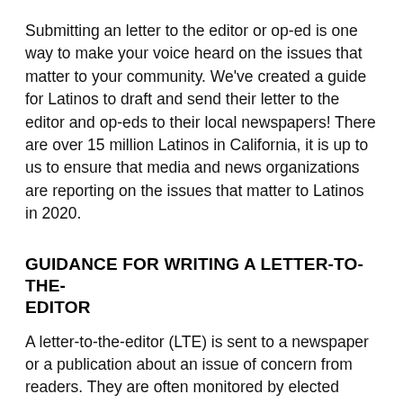Submitting an letter to the editor or op-ed is one way to make your voice heard on the issues that matter to your community. We've created a guide for Latinos to draft and send their letter to the editor and op-eds to their local newspapers! There are over 15 million Latinos in California, it is up to us to ensure that media and news organizations are reporting on the issues that matter to Latinos in 2020.
GUIDANCE FOR WRITING A LETTER-TO-THE-EDITOR
A letter-to-the-editor (LTE) is sent to a newspaper or a publication about an issue of concern from readers. They are often monitored by elected officials because they can create an impression of widespread support or opposition on the issue being addressed. Consider word length requirements and rules for submission